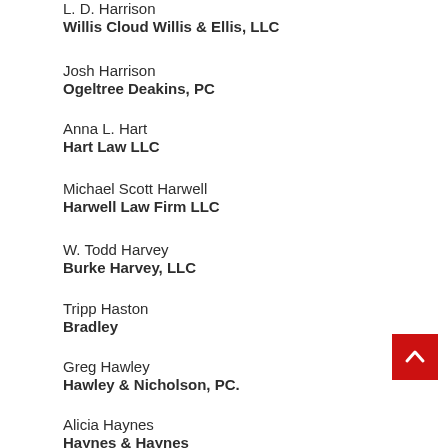L. D. Harrison
Willis Cloud Willis & Ellis, LLC
Josh Harrison
Ogeltree Deakins, PC
Anna L. Hart
Hart Law LLC
Michael Scott Harwell
Harwell Law Firm LLC
W. Todd Harvey
Burke Harvey, LLC
Tripp Haston
Bradley
Greg Hawley
Hawley & Nicholson, PC.
Alicia Haynes
Haynes & Haynes